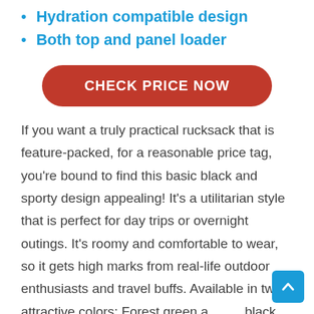Hydration compatible design
Both top and panel loader
CHECK PRICE NOW
If you want a truly practical rucksack that is feature-packed, for a reasonable price tag, you’re bound to find this basic black and sporty design appealing! It’s a utilitarian style that is perfect for day trips or overnight outings. It’s roomy and comfortable to wear, so it gets high marks from real-life outdoor enthusiasts and travel buffs. Available in two attractive colors: Forest green and black.